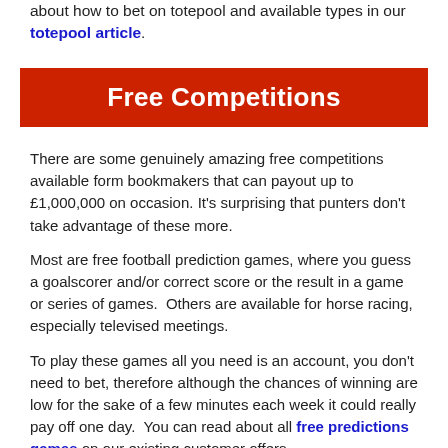about how to bet on totepool and available types in our totepool article.
Free Competitions
There are some genuinely amazing free competitions available form bookmakers that can payout up to £1,000,000 on occasion. It's surprising that punters don't take advantage of these more.
Most are free football prediction games, where you guess a goalscorer and/or correct score or the result in a game or series of games.  Others are available for horse racing, especially televised meetings.
To play these games all you need is an account, you don't need to bet, therefore although the chances of winning are low for the sake of a few minutes each week it could really pay off one day.  You can read about all free predictions games on our existing customer offers